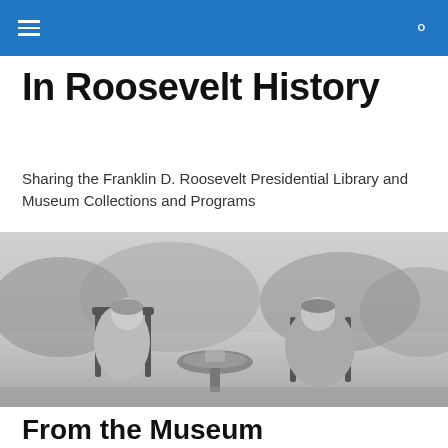In Roosevelt History
Sharing the Franklin D. Roosevelt Presidential Library and Museum Collections and Programs
[Figure (photo): Black and white photograph of two people seated outdoors on what appears to be a lawn or garden setting, with trees in the background. A woman is seated on the left and a man on the right, both near a small round table.]
From the Museum
Silver Cocktail Set (MO 1972.14a-g) and Pernod Absinthe Bottle (MO 1976.331)